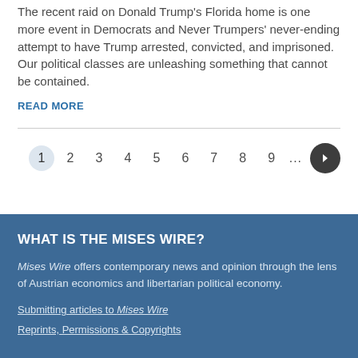The recent raid on Donald Trump's Florida home is one more event in Democrats and Never Trumpers' never-ending attempt to have Trump arrested, convicted, and imprisoned. Our political classes are unleashing something that cannot be contained.
READ MORE
1 2 3 4 5 6 7 8 9 ... >
WHAT IS THE MISES WIRE?
Mises Wire offers contemporary news and opinion through the lens of Austrian economics and libertarian political economy.
Submitting articles to Mises Wire
Reprints, Permissions & Copyrights